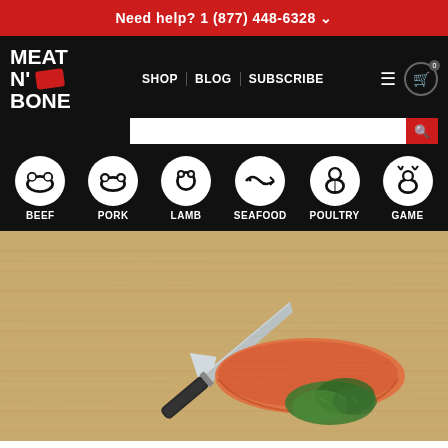Need help? 1 (877) 448-6328
[Figure (screenshot): Meat N' Bone website navigation header with logo, nav links (SHOP, BLOG, SUBSCRIBE), search bar, hamburger menu, cart icon, and category icons for BEEF, PORK, LAMB, SEAFOOD, POULTRY, GAME on black background]
[Figure (photo): A chef's knife on a wooden cutting board next to a fresh salmon fillet and herbs/parsley]